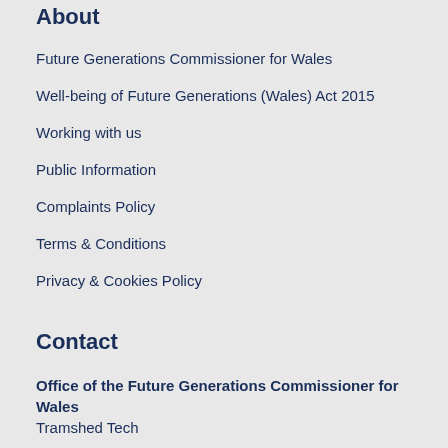About
Future Generations Commissioner for Wales
Well-being of Future Generations (Wales) Act 2015
Working with us
Public Information
Complaints Policy
Terms & Conditions
Privacy & Cookies Policy
Contact
Office of the Future Generations Commissioner for Wales
Tramshed Tech